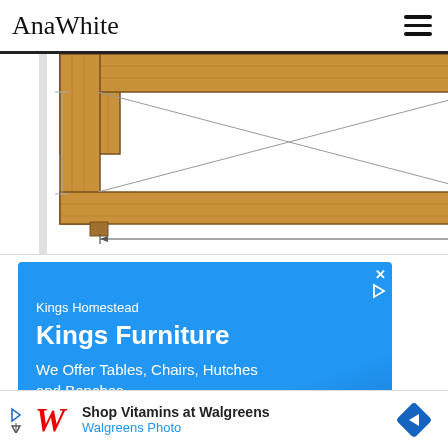AnaWhite
[Figure (engineering-diagram): Partial view of a rectangular wooden bed frame or box structure from above, with diagonal dimension lines indicating a width of 63 inches. The frame is shown with wooden planks and cross-bracing visible.]
[Figure (infographic): Advertisement for Kings Homestead - Kings Furniture. Blue background with text: 'Kings Homestead', 'Kings Furniture', 'We Offer Tables, Chairs, Hutches and Benches.' with a map view below.]
[Figure (infographic): Bottom banner advertisement for Walgreens/Walgreens Photo: 'Shop Vitamins at Walgreens' with Walgreens W logo and a blue diamond navigation icon.]